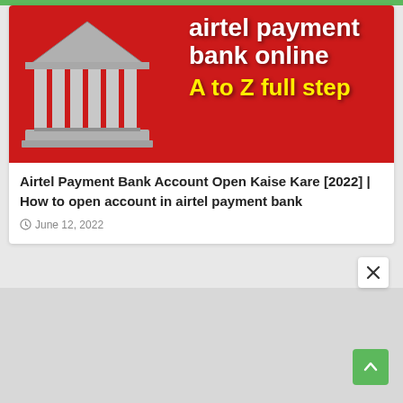[Figure (illustration): Airtel Payment Bank promotional banner with a grey bank/temple building icon on a red background, white bold text reading 'airtel payment bank online' and yellow bold text reading 'A to Z full step']
Airtel Payment Bank Account Open Kaise Kare [2022] | How to open account in airtel payment bank
June 12, 2022